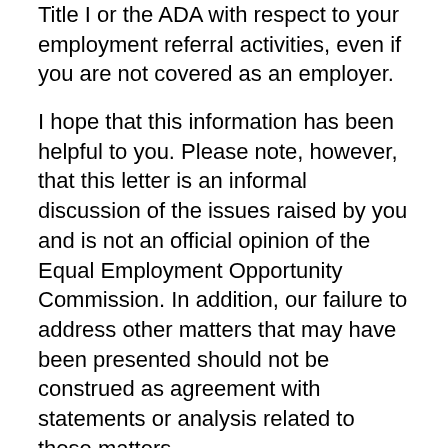Title I or the ADA with respect to your employment referral activities, even if you are not covered as an employer.
I hope that this information has been helpful to you. Please note, however, that this letter is an informal discussion of the issues raised by you and is not an official opinion of the Equal Employment Opportunity Commission. In addition, our failure to address other matters that may have been presented should not be construed as agreement with statements or analysis related to those matters.
Sincerely,
Christopher J. Kuczynski
Assistant Legal Counsel
ADA Policy Division
Attachment